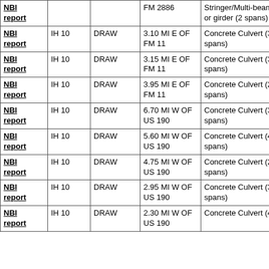| NBI report |  |  | FM 2886 | Stringer/Multi-beam or girder (2 spans) |  |
| NBI report | IH 10 | DRAW | 3.10 MI E OF FM 11 | Concrete Culvert (3 spans) | -- |
| NBI report | IH 10 | DRAW | 3.15 MI E OF FM 11 | Concrete Culvert (3 spans) | -- |
| NBI report | IH 10 | DRAW | 3.95 MI E OF FM 11 | Concrete Culvert (2 spans) | -- |
| NBI report | IH 10 | DRAW | 6.70 MI W OF US 190 | Concrete Culvert (3 spans) | -- |
| NBI report | IH 10 | DRAW | 5.60 MI W OF US 190 | Concrete Culvert (4 spans) | -- |
| NBI report | IH 10 | DRAW | 4.75 MI W OF US 190 | Concrete Culvert (2 spans) | -- |
| NBI report | IH 10 | DRAW | 2.95 MI W OF US 190 | Concrete Culvert (3 spans) | -- |
| NBI report | IH 10 | DRAW | 2.30 MI W OF US 190 | Concrete Culvert (4 | -- |